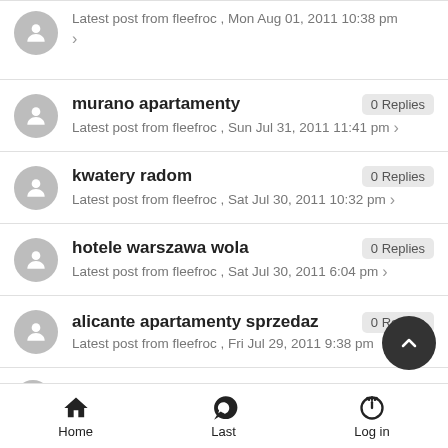Latest post from fleefroc , Mon Aug 01, 2011 10:38 pm
murano apartamenty
0 Replies
Latest post from fleefroc , Sun Jul 31, 2011 11:41 pm
kwatery radom
0 Replies
Latest post from fleefroc , Sat Jul 30, 2011 10:32 pm
hotele warszawa wola
0 Replies
Latest post from fleefroc , Sat Jul 30, 2011 6:04 pm
alicante apartamenty sprzedaz
0 Replies
Latest post from fleefroc , Fri Jul 29, 2011 9:38 pm
Home  Last  Log in